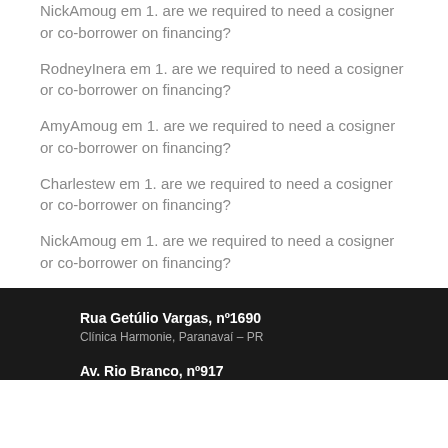NickAmoug em 1. are we required to need a cosigner or co-borrower on financing?
RodneyInera em 1. are we required to need a cosigner or co-borrower on financing?
AmyAmoug em 1. are we required to need a cosigner or co-borrower on financing?
Charlestew em 1. are we required to need a cosigner or co-borrower on financing?
NickAmoug em 1. are we required to need a cosigner or co-borrower on financing?
Rua Getúlio Vargas, nº1690
Clínica Harmonie, Paranavaí – PR
Av. Rio Branco, nº917